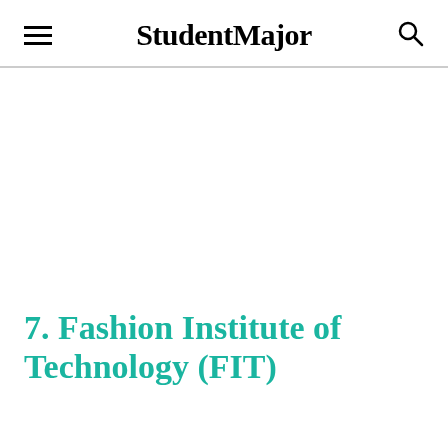StudentMajor
7. Fashion Institute of Technology (FIT)